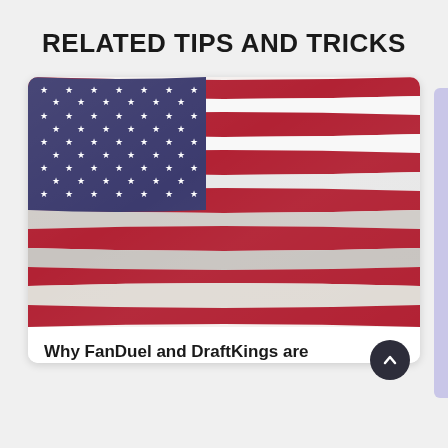RELATED TIPS AND TRICKS
[Figure (illustration): American flag image with stars and stripes, slightly wavy, inside a white card with rounded corners]
Why FanDuel and DraftKings are